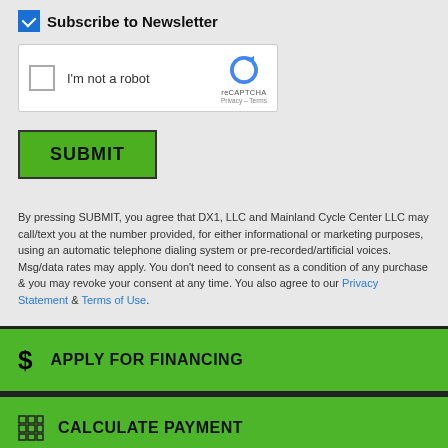Subscribe to Newsletter
[Figure (other): reCAPTCHA widget with checkbox labeled I'm not a robot]
SUBMIT
By pressing SUBMIT, you agree that DX1, LLC and Mainland Cycle Center LLC may call/text you at the number provided, for either informational or marketing purposes, using an automatic telephone dialing system or pre-recorded/artificial voices. Msg/data rates may apply. You don't need to consent as a condition of any purchase & you may revoke your consent at any time. You also agree to our Privacy Statement & Terms of Use.
$ APPLY FOR FINANCING
CALCULATE PAYMENT
SCHEDULE A TEST RIDE